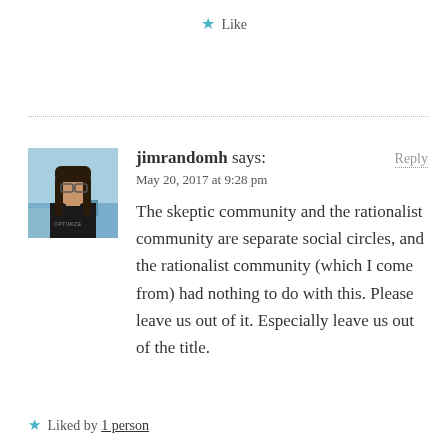★ Like
jimrandomh says:
May 20, 2017 at 9:28 pm
The skeptic community and the rationalist community are separate social circles, and the rationalist community (which I come from) had nothing to do with this. Please leave us out of it. Especially leave us out of the title.
★ Liked by 1 person